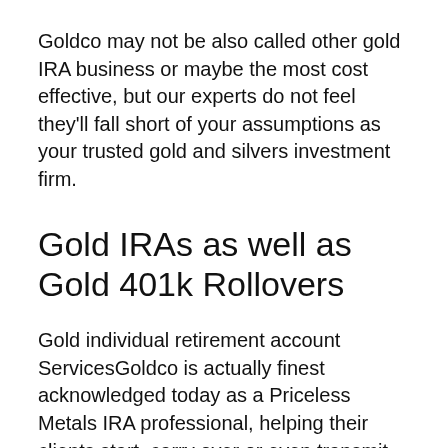Goldco may not be also called other gold IRA business or maybe the most cost effective, but our experts do not feel they'll fall short of your assumptions as your trusted gold and silvers investment firm.
Gold IRAs as well as Gold 401k Rollovers
Gold individual retirement account ServicesGoldco is actually finest acknowledged today as a Priceless Metals IRA professional, helping their clients start, carry over or even transmit their certified individual retirement account in to a Self-Directed IRA having a sensible percent of bodily precious metals as a hedge against present as well as future economic